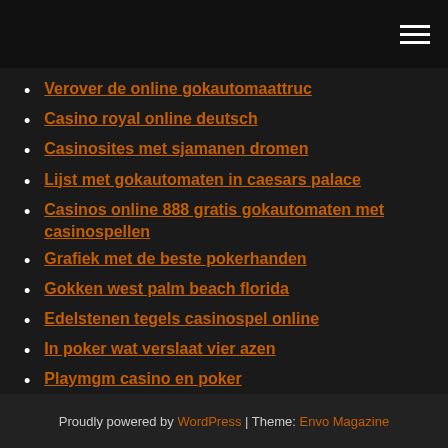[hamburger menu icon]
Verover de online gokautomaattruc
Casino royal online deutsch
Casinosites met sjamanen dromen
Lijst met gokautomaten in caesars palace
Casinos online 888 gratis gokautomaten met casinospellen
Grafiek met de beste pokerhanden
Gokken west palm beach florida
Edelstenen tegels casinospel online
In poker wat verslaat vier azen
Playmgm casino en poker
Proudly powered by WordPress | Theme: Envo Magazine